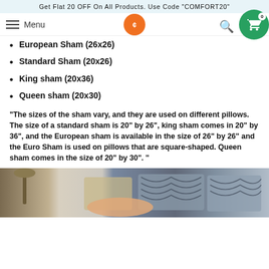Get Flat 20 OFF On All Products. Use Code "COMFORT20"
European Sham (26x26)
Standard Sham (20x26)
King sham (20x36)
Queen sham (20x30)
"The sizes of the sham vary, and they are used on different pillows. The size of a standard sham is 20" by 26", king sham comes in 20" by 36", and the European sham is available in the size of 26" by 26" and the Euro Sham is used on pillows that are square-shaped. Queen sham comes in the size of 20" by 30". "
[Figure (photo): A bedroom scene with patterned pillows on a sofa/bed, featuring geometric blue and beige/tan pillows, with a lamp visible on the left.]